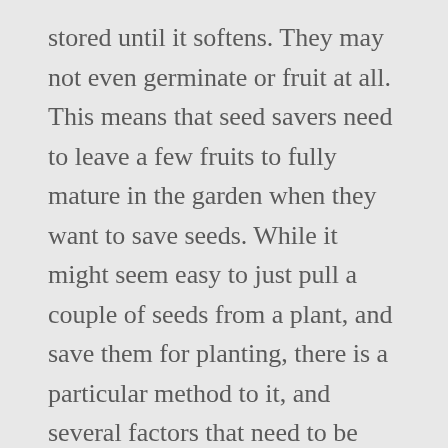stored until it softens. They may not even germinate or fruit at all. This means that seed savers need to leave a few fruits to fully mature in the garden when they want to save seeds. While it might seem easy to just pull a couple of seeds from a plant, and save them for planting, there is a particular method to it, and several factors that need to be kept in mind. Discover (and save!) Then you can cut it open and collect seeds. Growing Zucchinis From Seeds is easy when you know how. After that, the seeds are dried and placed in a dry environment (on a battery or boiler). Thanks! 1. 4 pounds of zucchini can be dried to fit into one pint sized jar! Slice them open and collect